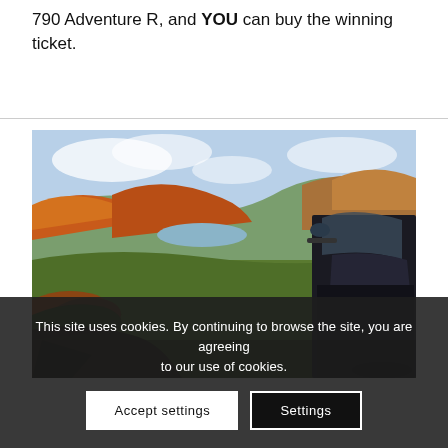790 Adventure R, and YOU can buy the winning ticket.
[Figure (photo): A motorcycle parked in a scenic autumn landscape with green fields, orange and red foliage on hills, and a lake visible in the background under a partly cloudy sky.]
This site uses cookies. By continuing to browse the site, you are agreeing to our use of cookies.